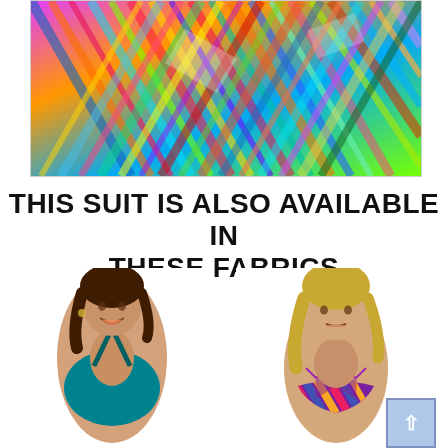[Figure (photo): Colorful abstract tropical palm leaf pattern fabric swatch with vivid rainbow colors — blues, oranges, pinks, yellows, greens — shown inside a bordered rectangular frame.]
THIS SUIT IS ALSO AVAILABLE IN THESE FABRICS
[Figure (photo): Left: Young brunette woman wearing a solid teal/turquoise halter-neck swimsuit top, smiling. Right: Young blonde woman wearing a multicolor striped triangle bikini top. A light blue scroll-to-top button with a white upward arrow is overlaid in the bottom right corner.]